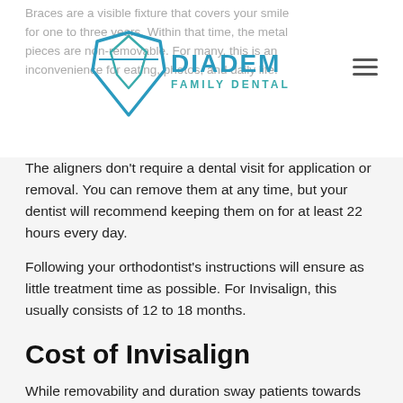Braces are a visible fixture that covers your smile for one to three years. Within that time, the metal pieces are non-removable. For many, this is an inconvenience for eating, photos, and daily life.
[Figure (logo): Diadem Family Dental logo with tooth/diamond icon and teal text]
The aligners don't require a dental visit for application or removal. You can remove them at any time, but your dentist will recommend keeping them on for at least 22 hours every day.
Following your orthodontist's instructions will ensure as little treatment time as possible. For Invisalign, this usually consists of 12 to 18 months.
Cost of Invisalign
While removability and duration sway patients towards Invisalign, their cost is a drawback. Typically, braces cost between $2,500 to $6,000, while Invisalign can range from $3,500 to $9,000.